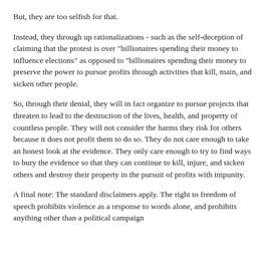But, they are too selfish for that.
Instead, they through up rationalizations - such as the self-deception of claiming that the protest is over "billionaires spending their money to influence elections" as opposed to "billionaires spending their money to preserve the power to pursue profits through activities that kill, main, and sicken other people.
So, through their denial, they will in fact organize to pursue projects that threaten to lead to the destruction of the lives, health, and property of countless people. They will not consider the harms they risk for others because it does not profit them to do so. They do not care enough to take an honest look at the evidence. They only care enough to try to find ways to bury the evidence so that they can continue to kill, injure, and sicken others and destroy their property in the pursuit of profits with impunity.
A final note: The standard disclaimers apply. The right to freedom of speech prohibits violence as a response to words alone, and prohibits anything other than a political campaign